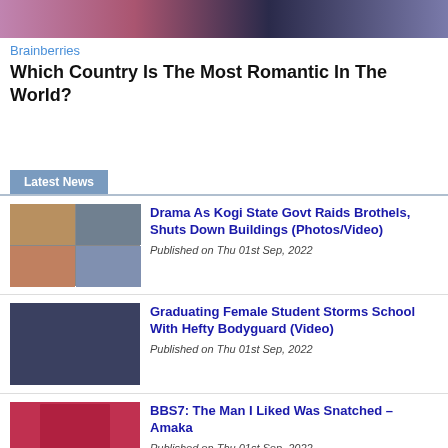[Figure (photo): Top banner image with pink and dark tones]
Brainberries
Which Country Is The Most Romantic In The World?
Latest News
[Figure (photo): Collage thumbnail for Kogi State brothel raid article]
Drama As Kogi State Govt Raids Brothels, Shuts Down Buildings (Photos/Video)
Published on Thu 01st Sep, 2022
[Figure (photo): Thumbnail for graduating female student article]
Graduating Female Student Storms School With Hefty Bodyguard (Video)
Published on Thu 01st Sep, 2022
[Figure (photo): Thumbnail for BBS7 Amaka article]
BBS7: The Man I Liked Was Snatched – Amaka
Published on Thu 01st Sep, 2022
[Figure (photo): Thumbnail for Tinubu Bishop Kukah article]
I'm Months Older Than You – Tinubu Tells Bishop Kukah
Published on Thu 01st Sep, 2022